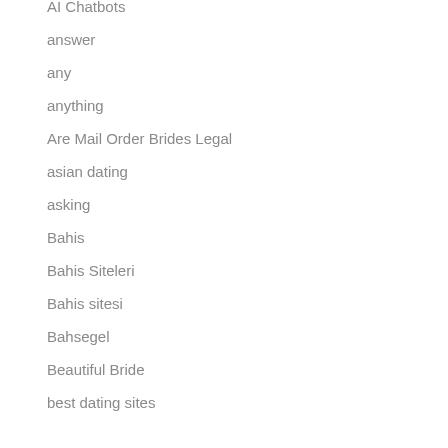AI Chatbots
answer
any
anything
Are Mail Order Brides Legal
asian dating
asking
Bahis
Bahis Siteleri
Bahis sitesi
Bahsegel
Beautiful Bride
best dating sites